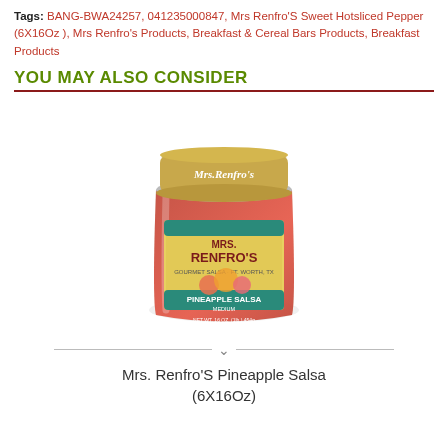Tags: BANG-BWA24257, 041235000847, Mrs Renfro'S Sweet Hotsliced Pepper (6X16Oz ), Mrs Renfro's Products, Breakfast & Cereal Bars Products, Breakfast Products
YOU MAY ALSO CONSIDER
[Figure (photo): A jar of Mrs. Renfro's Pineapple Salsa Medium, 16 oz (454g), with a gold lid labeled 'Mrs. Renfro's', and a colorful label showing pineapple and tomato imagery on a yellow and teal background.]
Mrs. Renfro'S Pineapple Salsa (6X16Oz)